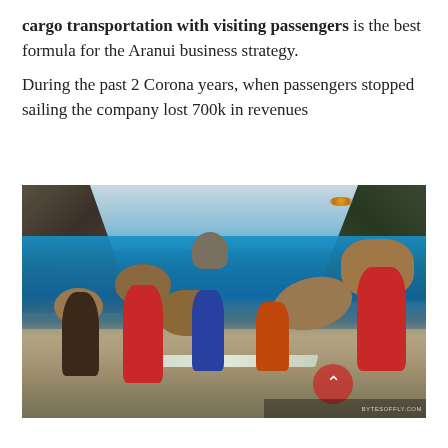cargo transportation with visiting passengers is the best formula for the Aranui business strategy.
During the past 2 Corona years, when passengers stopped sailing the company lost 700k in revenues
[Figure (photo): People carrying large burlap sacks through shallow ocean water near a boat on a tropical beach, with dramatic rocky cliffs and a distinctive pyramid-shaped rock in the background. The water is bright blue and the scene appears to be in the Marquesas Islands.]